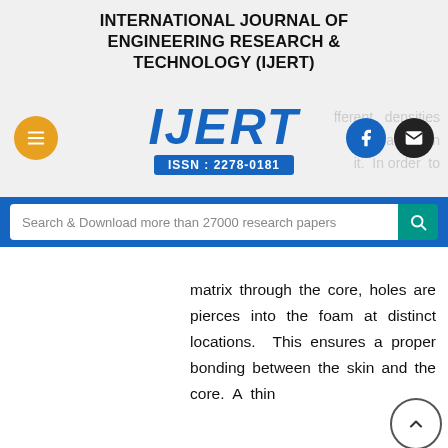INTERNATIONAL JOURNAL OF ENGINEERING RESEARCH & TECHNOLOGY (IJERT)
[Figure (logo): IJERT logo with ISSN: 2278-0181, menu button, Facebook and email icons, and faded background text about different densities placed on it, in order to]
Search & Download more than 27000 research papers
matrix through the core, holes are pierces into the foam at distinct locations. This ensures a proper bonding between the skin and the core. A thin